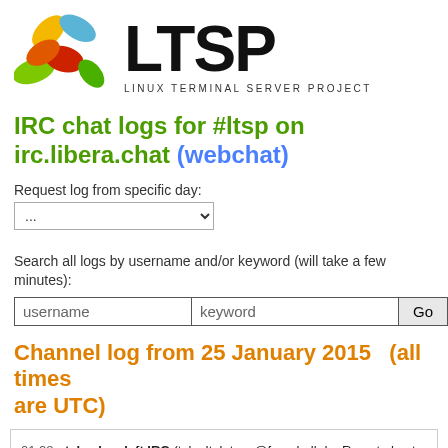[Figure (logo): LTSP Linux Terminal Server Project logo with colorful leaf/petal shapes and bold LTSP text]
IRC chat logs for #ltsp on irc.libera.chat (webchat)
Request log from specific day:
Search all logs by username and/or keyword (will take a few minutes):
Channel log from 25 January 2015   (all times are UTC)
01:28  telex has left IRC (telex!teletype@freeshell.de, Remote host closed the connection)
01:30  telex has joined IRC (telex!teletype@freeshell.de)